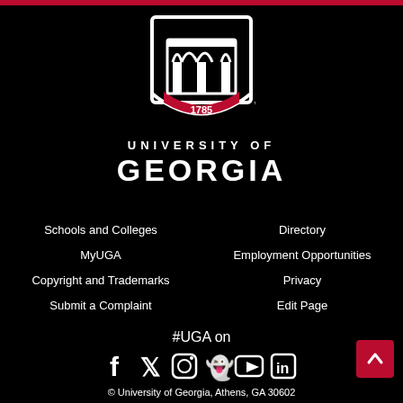[Figure (logo): University of Georgia shield logo with arch and 1785]
UNIVERSITY OF GEORGIA
Schools and Colleges
Directory
MyUGA
Employment Opportunities
Copyright and Trademarks
Privacy
Submit a Complaint
Edit Page
#UGA on
[Figure (illustration): Social media icons: Facebook, Twitter, Instagram, Snapchat, YouTube, LinkedIn]
© University of Georgia, Athens, GA 30602